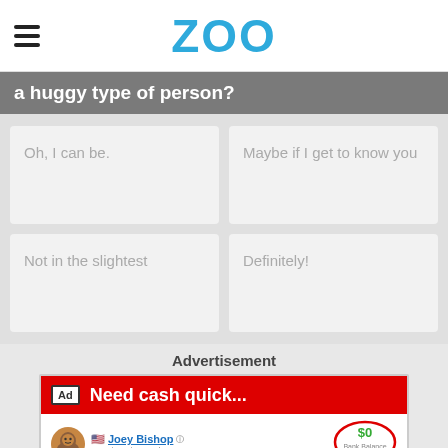ZOO
a huggy type of person?
Oh, I can be.
Maybe if I get to know you
Not in the slightest
Definitely!
Advertisement
[Figure (screenshot): Advertisement for a mobile game showing: red banner with 'Ad' badge and 'Need cash quick...' text. Profile of Joey Bishop (University Student) with $0 Bank Balance circled in red. Blue CRIME header bar with back button. Bank Robbery option circled in red with 'Rob a bank' subtitle and cartoon villain emoji. Burglary option partially visible at bottom.]